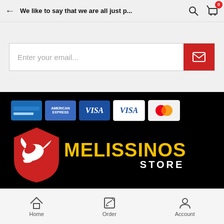We like to say that we are all just p...
[Figure (screenshot): Email subscription input bar with red envelope button]
[Figure (logo): Melissinos Store logo with red eagle shield and yellow bold text on black background, with payment method icons (credit card, American Express, Visa x2, Mastercard)]
© Copyright 2020 melissinos.
Κατασκευή e-shop  Hit-media.
Home   Order   Account